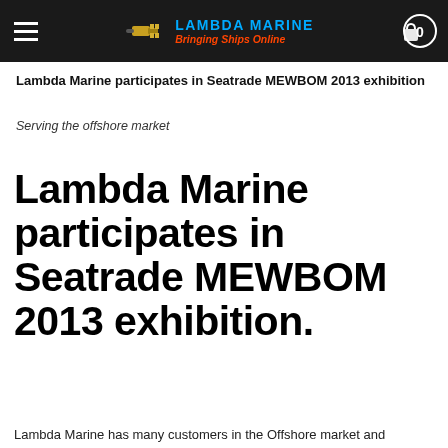LAMBDA MARINE — Bringing Ships Online (navigation header with hamburger menu and cart)
Lambda Marine participates in Seatrade MEWBOM 2013 exhibition
Serving the offshore market
Lambda Marine participates in Seatrade MEWBOM 2013 exhibition.
Lambda Marine has many customers in the Offshore market and